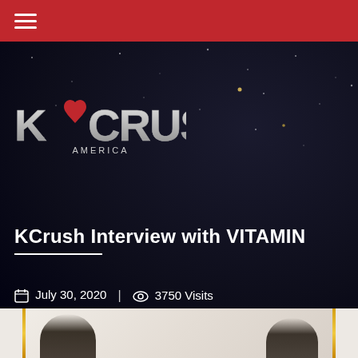KCrush America — navigation bar
[Figure (logo): KCrush America logo — stylized silver text with red heart, on dark starfield background]
KCrush Interview with VITAMIN
July 30, 2020  |  3750 Visits
[Figure (infographic): Social sharing buttons: LinkedIn, Facebook, Twitter, Email, More (+)]
[Figure (photo): Partial photo of people in front of a decorative background with gold frames]